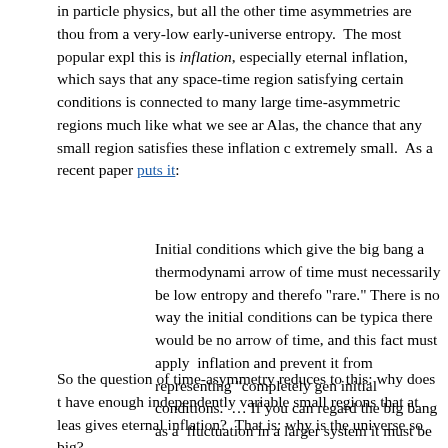in particle physics, but all the other time asymmetries are thought to arise from a very-low early-universe entropy. The most popular explanation for this is inflation, especially eternal inflation, which says that any space-time region satisfying certain conditions is connected to many large time-asymmetric regions much like what we see around us. Alas, the chance that any small region satisfies these inflation conditions is extremely small. As a recent paper puts it:
Initial conditions which give the big bang a thermodynamic arrow of time must necessarily be low entropy and therefore "rare." There is no way the initial conditions can be typical; there would be no arrow of time, and this fact must apply to inflation and prevent it from representing "completely generic" initial conditions. … If you can regard the big bang as a fluctuation in a larger system it must be an exceedingly rare one to account for the observed thermodynamic arrow of time.
So the question of time-asymmetry reduces to this: why does the universe have enough independently variable small regions that at least one gives eternal inflation? That is: why is the universe so big?